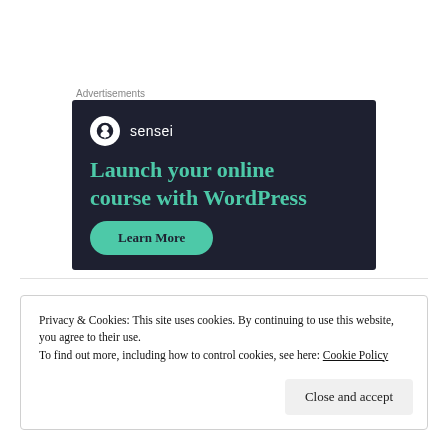Advertisements
[Figure (illustration): Sensei advertisement with dark navy background. Shows the Sensei logo (tree icon in white circle) and brand name 'sensei' in white. Headline reads 'Launch your online course with WordPress' in teal/green color. A teal 'Learn More' button at the bottom.]
Privacy & Cookies: This site uses cookies. By continuing to use this website, you agree to their use.
To find out more, including how to control cookies, see here: Cookie Policy
Close and accept